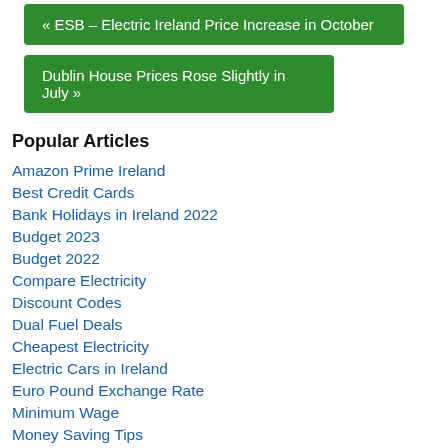« ESB – Electric Ireland Price Increase in October
Dublin House Prices Rose Slightly in July »
Popular Articles
Amazon Prime Ireland
Best Credit Cards
Bank Holidays in Ireland 2022
Budget 2023
Budget 2022
Compare Electricity
Discount Codes
Dual Fuel Deals
Cheapest Electricity
Electric Cars in Ireland
Euro Pound Exchange Rate
Minimum Wage
Money Saving Tips
Money Transfers